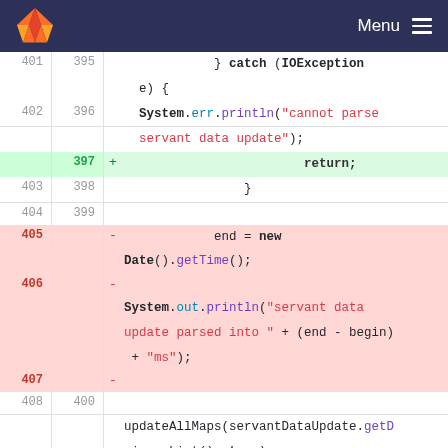GitLab header with logo and Menu
[Figure (screenshot): Code diff view showing Java code lines 401-409 (old) and 395-401 (new), with added line returning early and removed lines for timing/logging]
401 395 } catch (IOException e) {
402 396 System.err.println("cannot parse servant data update");
+ 397 return;
403 398 }
404 399
405 - end = new Date().getTime();
406 - System.out.println("servant data update parsed into " + (end - begin) + "ms");
407 -
408 400 updateAllMaps(servantDataUpdate.getDriversList(), true);
409 401 updateAllMaps(servantDataUpdate.getC